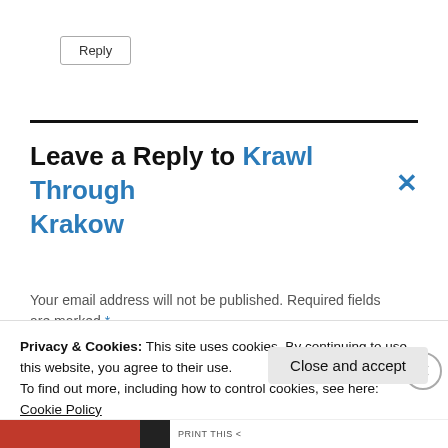Reply
Leave a Reply to Krawl Through Krakow
Your email address will not be published. Required fields are marked *
Privacy & Cookies: This site uses cookies. By continuing to use this website, you agree to their use.
To find out more, including how to control cookies, see here:
Cookie Policy
Close and accept